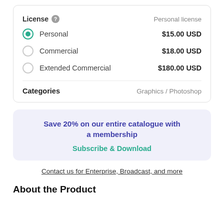| License | Personal license |
| --- | --- |
| Personal | $15.00 USD |
| Commercial | $18.00 USD |
| Extended Commercial | $180.00 USD |
| Categories | Graphics / Photoshop |
Save 20% on our entire catalogue with a membership
Subscribe & Download
Contact us for Enterprise, Broadcast, and more
About the Product